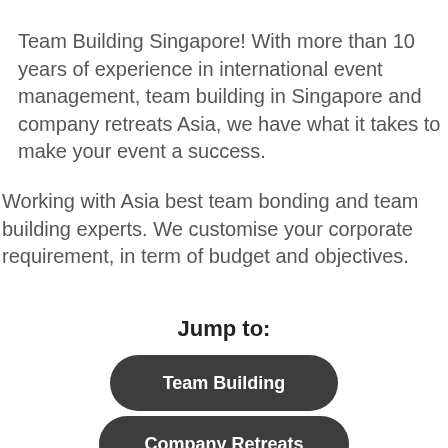Team Building Singapore! With more than 10 years of experience in international event management, team building in Singapore and company retreats Asia, we have what it takes to make your event a success.
Working with Asia best team bonding and team building experts. We customise your corporate requirement, in term of budget and objectives.
Jump to:
Team Building
Company Retreats